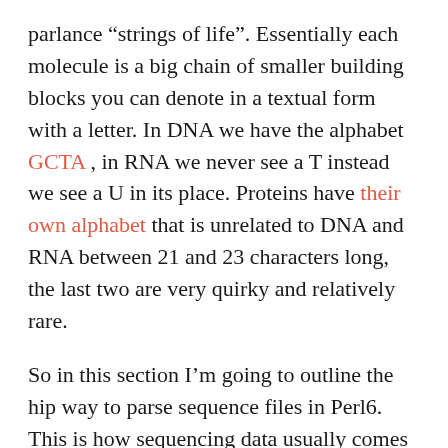parlance “strings of life”. Essentially each molecule is a big chain of smaller building blocks you can denote in a textual form with a letter. In DNA we have the alphabet GCTA , in RNA we never see a T instead we see a U in its place. Proteins have their own alphabet that is unrelated to DNA and RNA between 21 and 23 characters long, the last two are very quirky and relatively rare.
So in this section I’m going to outline the hip way to parse sequence files in Perl6. This is how sequencing data usually comes into a bioinformatician. A giant text file! I’ll be using our own class to hold the sequence and a well defined grammar for the well loved (not) FASTA format. So to start here is the Grammar